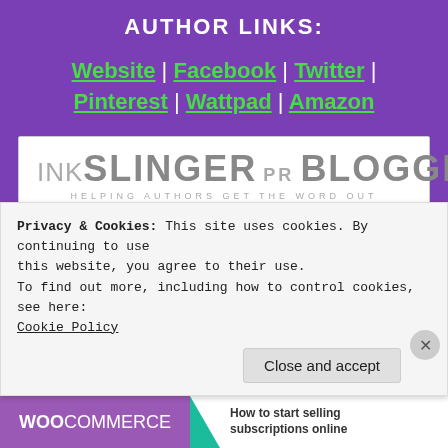AUTHOR LINKS:
Website | Facebook | Twitter | Pinterest | Wattpad | Amazon
[Figure (logo): Inkslinger PR Blogger logo — HELPING AUTHORS GET THE WORD OUT]
Advertisements
Privacy & Cookies: This site uses cookies. By continuing to use this website, you agree to their use.
To find out more, including how to control cookies, see here: Cookie Policy
Close and accept
[Figure (infographic): WooCommerce advertisement banner — How to start selling subscriptions online]